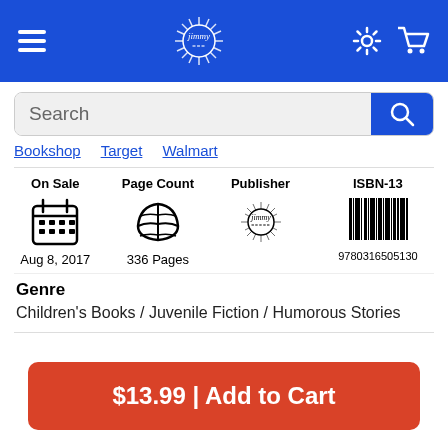Navigation bar with hamburger menu, Jimmy logo, settings and cart icons
Search
Bookshop   Target   Walmart
| On Sale | Page Count | Publisher | ISBN-13 |
| --- | --- | --- | --- |
| Aug 8, 2017 | 336 Pages | [Jimmy logo] | 9780316505130 |
Genre
Children's Books / Juvenile Fiction / Humorous Stories
$13.99 | Add to Cart